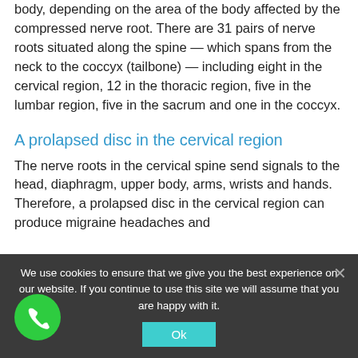body, depending on the area of the body affected by the compressed nerve root. There are 31 pairs of nerve roots situated along the spine — which spans from the neck to the coccyx (tailbone) — including eight in the cervical region, 12 in the thoracic region, five in the lumbar region, five in the sacrum and one in the coccyx.
A prolapsed disc in the cervical region
The nerve roots in the cervical spine send signals to the head, diaphragm, upper body, arms, wrists and hands. Therefore, a prolapsed disc in the cervical region can produce migraine headaches and
We use cookies to ensure that we give you the best experience on our website. If you continue to use this site we will assume that you are happy with it.